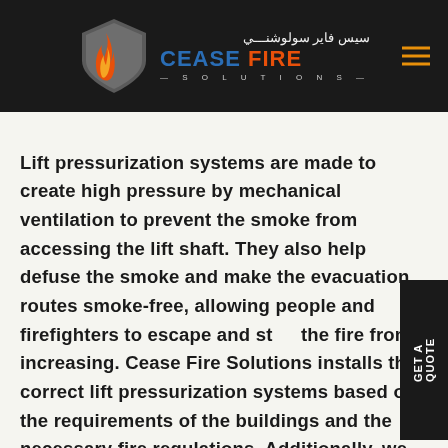Cease Fire Solutions logo and navigation header
Lift pressurization systems are made to create high pressure by mechanical ventilation to prevent the smoke from accessing the lift shaft. They also help defuse the smoke and make the evacuation routes smoke-free, allowing people and firefighters to escape and stop the fire from increasing. Cease Fire Solutions installs the correct lift pressurization systems based on the requirements of the buildings and the necessary fire regulations. Additionally, we also pride ourselves on having experienced and professional fire protection engineers